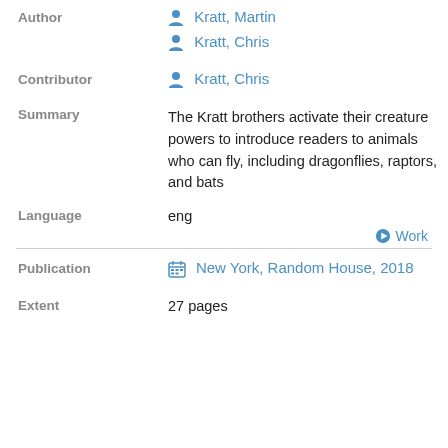Author
Kratt, Martin
Kratt, Chris
Contributor
Kratt, Chris
Summary
The Kratt brothers activate their creature powers to introduce readers to animals who can fly, including dragonflies, raptors, and bats
Language
eng
Work
Publication
New York, Random House, 2018
Extent
27 pages